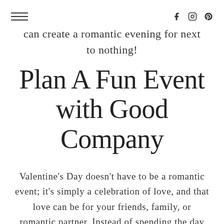[hamburger menu] [social icons: f, instagram, pinterest]
can create a romantic evening for next to nothing!
Plan A Fun Event with Good Company
Valentine's Day doesn't have to be a romantic event; it's simply a celebration of love, and that love can be for your friends, family, or romantic partner. Instead of spending the day